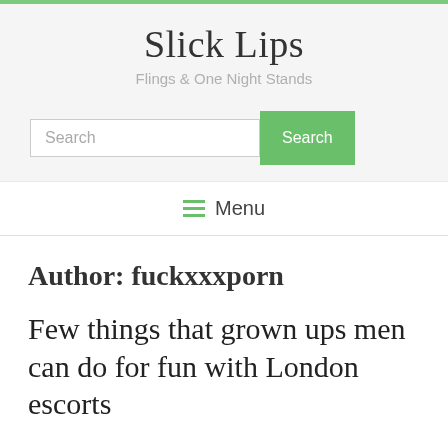Slick Lips
Flings & One Night Stands
Search
≡ Menu
Author: fuckxxxporn
Few things that grown ups men can do for fun with London escorts